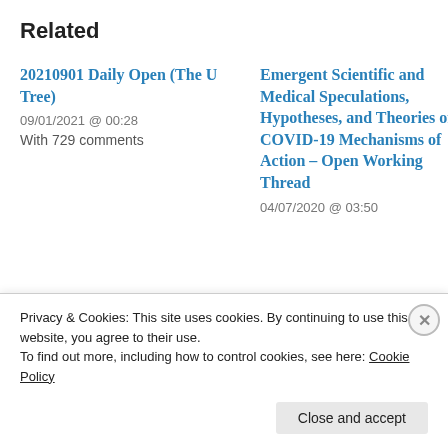Related
20210901 Daily Open (The U Tree)
09/01/2021 @ 00:28
With 729 comments
Emergent Scientific and Medical Speculations, Hypotheses, and Theories of COVID-19 Mechanisms of Action – Open Working Thread
04/07/2020 @ 03:50
Privacy & Cookies: This site uses cookies. By continuing to use this website, you agree to their use.
To find out more, including how to control cookies, see here: Cookie Policy
[Close and accept]